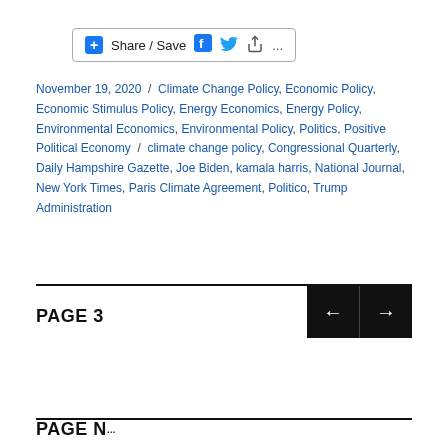[Figure (screenshot): Share / Save button with Facebook, Twitter, and share icons]
November 19, 2020 / Climate Change Policy, Economic Policy, Economic Stimulus Policy, Energy Economics, Energy Policy, Environmental Economics, Environmental Policy, Politics, Positive Political Economy / climate change policy, Congressional Quarterly, Daily Hampshire Gazette, Joe Biden, kamala harris, National Journal, New York Times, Paris Climate Agreement, Politico, Trump Administration
PAGE 3
PAGE 3 NEXT →